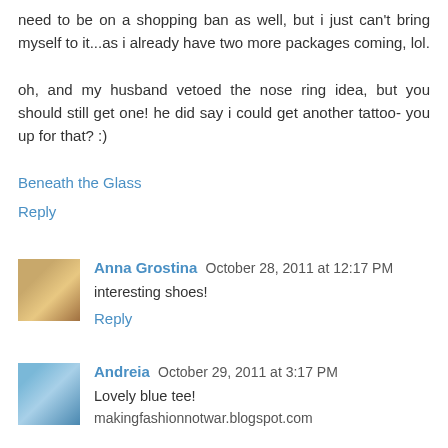need to be on a shopping ban as well, but i just can't bring myself to it...as i already have two more packages coming, lol.

oh, and my husband vetoed the nose ring idea, but you should still get one! he did say i could get another tattoo- you up for that? :)
Beneath the Glass
Reply
Anna Grostina  October 28, 2011 at 12:17 PM
interesting shoes!
Reply
Andreia  October 29, 2011 at 3:17 PM
Lovely blue tee!
makingfashionnotwar.blogspot.com